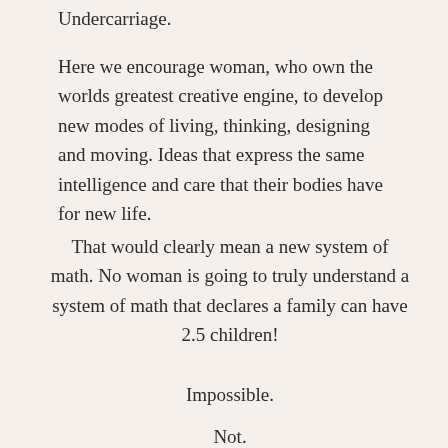Undercarriage.
Here we encourage woman, who own the worlds greatest creative engine, to develop new modes of living, thinking, designing and moving. Ideas that express the same intelligence and care that their bodies have for new life.
That would clearly mean a new system of math. No woman is going to truly understand a system of math that declares a family can have 2.5 children!
Impossible.
Not.